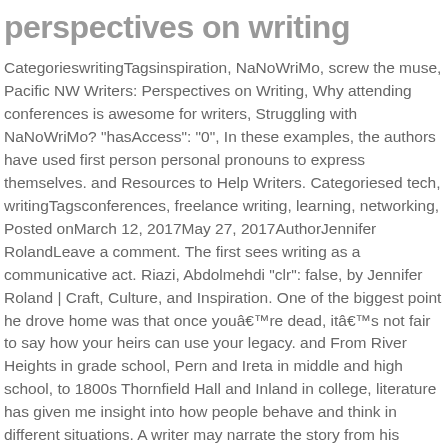perspectives on writing
CategorieswritingTagsinspiration, NaNoWriMo, screw the muse, Pacific NW Writers: Perspectives on Writing, Why attending conferences is awesome for writers, Struggling with NaNoWriMo? "hasAccess": "0", In these examples, the authors have used first person personal pronouns to express themselves. and Resources to Help Writers. Categoriesed tech, writingTagsconferences, freelance writing, learning, networking, Posted onMarch 12, 2017May 27, 2017AuthorJennifer RolandLeave a comment. The first sees writing as a communicative act. Riazi, Abdolmehdi "clr": false, by Jennifer Roland | Craft, Culture, and Inspiration. One of the biggest point he drove home was that once youâ€™re dead, itâ€™s not fair to say how your heirs can use your legacy. and From River Heights in grade school, Pern and Ireta in middle and high school, to 1800s Thornfield Hall and Inland in college, literature has given me insight into how people behave and think in different situations. A writer may narrate the story from his perspective, or from a characterâ€™s perspective. You climb your ladder and spend the next week pouring wet plaster into the cofferdamâ€¦ Now open the walls